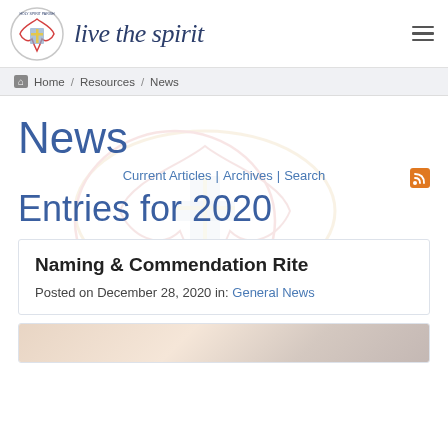Holy Spirit Parish — live the spirit
Home / Resources / News
News
Current Articles | Archives | Search
Entries for 2020
Naming & Commendation Rite
Posted on December 28, 2020 in: General News